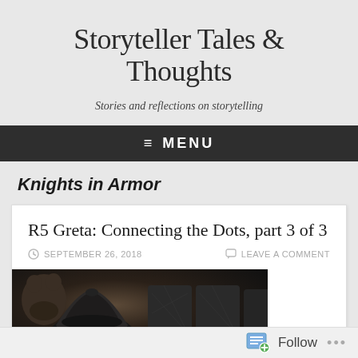Storyteller Tales & Thoughts
Stories and reflections on storytelling
≡ MENU
Knights in Armor
R5 Greta: Connecting the Dots, part 3 of 3
SEPTEMBER 26, 2018
LEAVE A COMMENT
[Figure (photo): Black and white photograph showing a figure in armor or helmet, with upholstered chairs visible in the background]
Follow ...